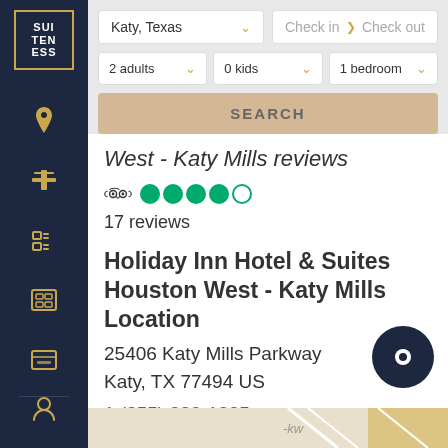[Figure (screenshot): Suiteness logo in sidebar - white text SUI TEN ESS in gold border box on dark navy background]
Katy, Texas
Check in  > Check out
2 adults
0 kids
1 bedroom
SEARCH
West - Katy Mills reviews
17 reviews
Holiday Inn Hotel & Suites Houston West - Katy Mills Location
25406 Katy Mills Parkway
Katy, TX 77494 US
1 (855) 282-1325